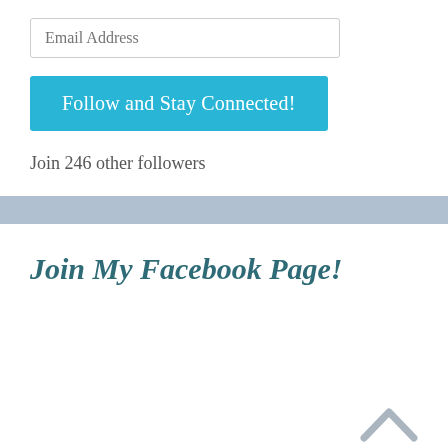Email Address
Follow and Stay Connected!
Join 246 other followers
Join My Facebook Page!